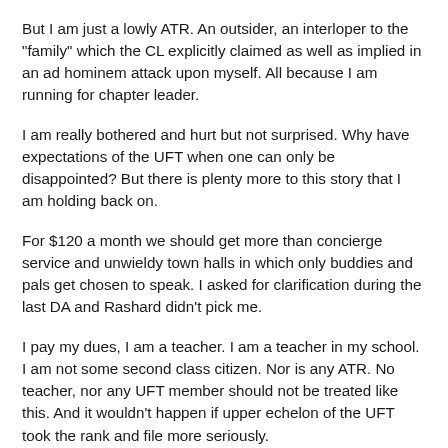But I am just a lowly ATR. An outsider, an interloper to the "family" which the CL explicitly claimed as well as implied in an ad hominem attack upon myself. All because I am running for chapter leader.
I am really bothered and hurt but not surprised. Why have expectations of the UFT when one can only be disappointed? But there is plenty more to this story that I am holding back on.
For $120 a month we should get more than concierge service and unwieldy town halls in which only buddies and pals get chosen to speak. I asked for clarification during the last DA and Rashard didn't pick me.
I pay my dues, I am a teacher. I am a teacher in my school. I am not some second class citizen. Nor is any ATR. No teacher, nor any UFT member should not be treated like this. And it wouldn't happen if upper echelon of the UFT took the rank and file more seriously.